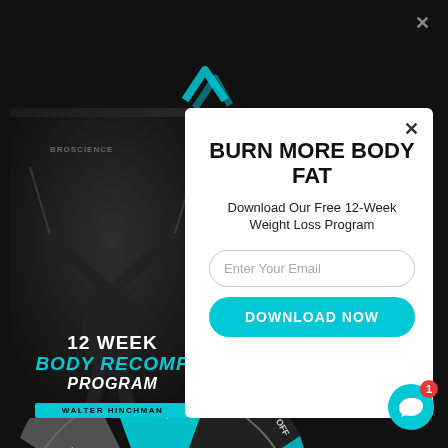[Figure (screenshot): Fitness website popup modal with a 12 Week Body Recomp Program book cover image on the left (showing a woman exercising with cables, dark background) and a white panel on the right with headline 'BURN MORE BODY FAT', subtitle 'Download Our Free 12-Week Weight Loss Program', email input field, and cyan 'DOWNLOAD NOW' button. Background shows a spinning prize wheel at the bottom with segments reading '10% OFF', 'No luck today', '50% OFF', '10%'. A close X button appears in the top right of the modal and also top right of the page. Cyan chevron decorations appear at the top center. A cyan chat bubble icon with red badge showing '1' is visible in the bottom right corner.]
BURN MORE BODY FAT
Download Our Free 12-Week Weight Loss Program